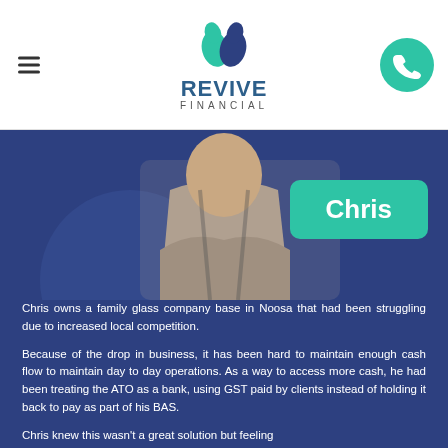Revive Financial
[Figure (photo): Person with arms crossed wearing grey shirt, with a teal 'Chris' name badge overlay, on a dark blue background]
Chris owns a family glass company base in Noosa that had been struggling due to increased local competition.
Because of the drop in business, it has been hard to maintain enough cash flow to maintain day to day operations. As a way to access more cash, he had been treating the ATO as a bank, using GST paid by clients instead of holding it back to pay as part of his BAS.
Chris knew this wasn't a great solution but feeling hopeless, it seemed like a quick fix until the